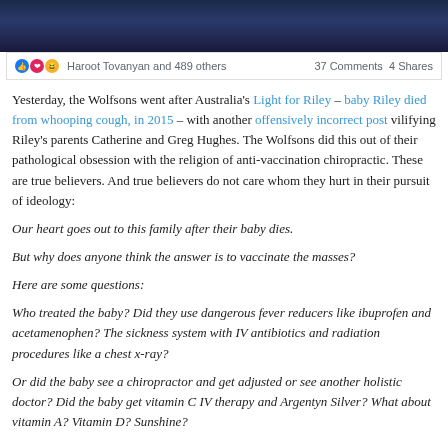[Figure (photo): Dark blue/navy image at top of page, partial view of what appears to be a night sky or dark background]
Haroot Tovanyan and 489 others   37 Comments  4 Shares
Yesterday, the Wolfsons went after Australia's Light for Riley – baby Riley died from whooping cough, in 2015 – with another offensively incorrect post vilifying Riley's parents Catherine and Greg Hughes. The Wolfsons did this out of their pathological obsession with the religion of anti-vaccination chiropractic. These are true believers. And true believers do not care whom they hurt in their pursuit of ideology:
Our heart goes out to this family after their baby dies.
But why does anyone think the answer is to vaccinate the masses?
Here are some questions:
Who treated the baby? Did they use dangerous fever reducers like ibuprofen and acetamenophen? The sickness system with IV antibiotics and radiation procedures like a chest x-ray?
Or did the baby see a chiropractor and get adjusted or see another holistic doctor? Did the baby get vitamin C IV therapy and Argentyn Silver? What about vitamin A? Vitamin D? Sunshine?